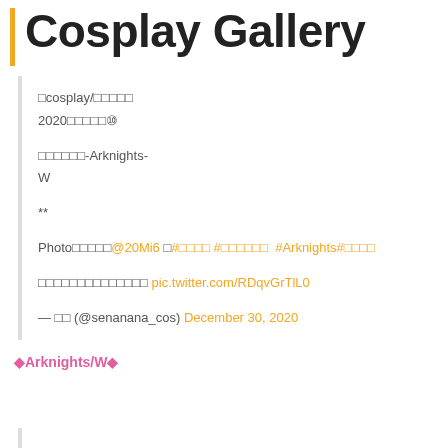Cosplay Gallery
□cosplay/□□□□□
2020□□□□□⑩

□□□□□□-Arknights-
W

**

Photo□□□□□@20Mi6 □#□□□□ #□□□□□□  #Arknights#□□□□

□□□□□□□□□□□□□□ pic.twitter.com/RDqvGrTlL0

— □□ (@senanana_cos) December 30, 2020
◆Arknights/W◆